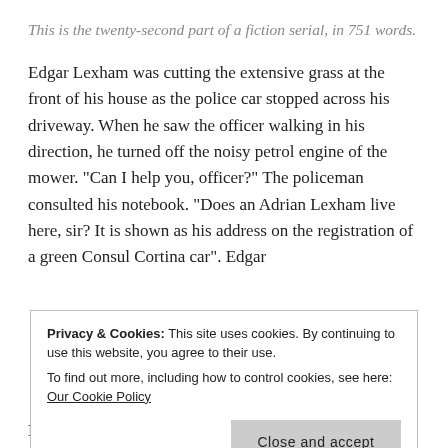This is the twenty-second part of a fiction serial, in 751 words.
Edgar Lexham was cutting the extensive grass at the front of his house as the police car stopped across his driveway. When he saw the officer walking in his direction, he turned off the noisy petrol engine of the mower. "Can I help you, officer?" The policeman consulted his notebook. “Does an Adrian Lexham live here, sir? It is shown as his address on the registration of a green Consul Cortina car". Edgar
Privacy & Cookies: This site uses cookies. By continuing to use this website, you agree to their use.
To find out more, including how to control cookies, see here: Our Cookie Policy
Declining the offer of a cup of tea and a seat in a